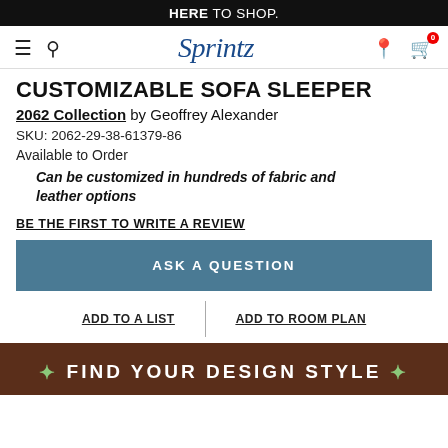HERE TO SHOP.
[Figure (logo): Sprintz furniture store navigation bar with hamburger menu, search icon, Sprintz logo, location pin icon, and shopping cart icon with badge showing 0]
CUSTOMIZABLE SOFA SLEEPER
2062 Collection by Geoffrey Alexander
SKU: 2062-29-38-61379-86
Available to Order
Can be customized in hundreds of fabric and leather options
BE THE FIRST TO WRITE A REVIEW
ASK A QUESTION
ADD TO A LIST
ADD TO ROOM PLAN
FIND YOUR DESIGN STYLE